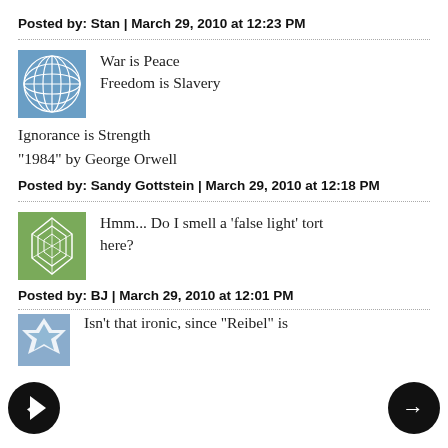Posted by: Stan | March 29, 2010 at 12:23 PM
[Figure (illustration): Blue circular globe-like avatar icon]
War is Peace
Freedom is Slavery
Ignorance is Strength

"1984" by George Orwell
Posted by: Sandy Gottstein | March 29, 2010 at 12:18 PM
[Figure (illustration): Green leaf/cell pattern avatar icon]
Hmm... Do I smell a 'false light' tort here?
Posted by: BJ | March 29, 2010 at 12:01 PM
[Figure (illustration): Blue/white starburst avatar icon]
Isn't that ironic, since "Reibel" is